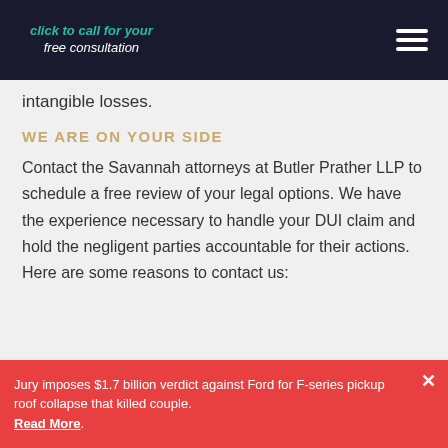click to call for your free consultation
intangible losses.
WE ARE ON YOUR SIDE
Contact the Savannah attorneys at Butler Prather LLP to schedule a free review of your legal options. We have the experience necessary to handle your DUI claim and hold the negligent parties accountable for their actions. Here are some reasons to contact us:
Jury imposes $1.7 billion verdict against Ford for F-series pickup roof collapse that killed couple. Read More.